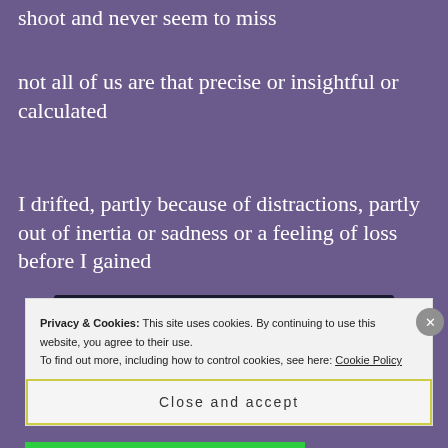shoot and never seem to miss
not all of us are that precise or insightful or calculated
I drifted, partly because of distractions, partly out of inertia or sadness or a feeling of loss before I gained
[Figure (other): Advertisement banner: dark background with tree/bonsai logo circle, green text 'Turn your blog into a money-making online course.' with white arrow]
REPORT THIS AD
Privacy & Cookies: This site uses cookies. By continuing to use this website, you agree to their use.
To find out more, including how to control cookies, see here: Cookie Policy
Close and accept